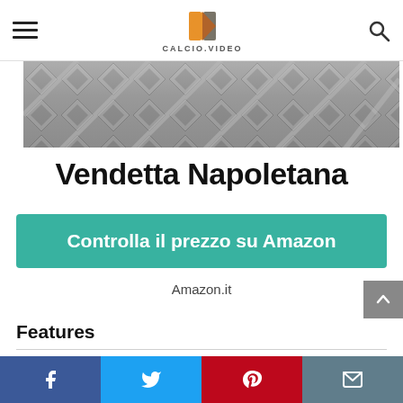CALCIO.VIDEO
[Figure (photo): Diamond plate metal texture banner image in grayscale]
Vendetta Napoletana
Controlla il prezzo su Amazon
Amazon.it
Features
Is Adult Product